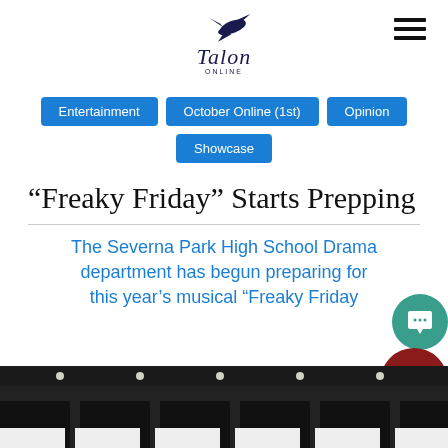[Figure (logo): Talon online newspaper logo with bird graphic and italic text]
Entertainment
October Online (1st)
Opinion
Showcase
“Freaky Friday” Starts Prepping
The Severna Park High School Drama department has begun preparing for this year’s musical “Freaky Friday
[Figure (photo): Dark stage photo showing theatre seating and stage lights]